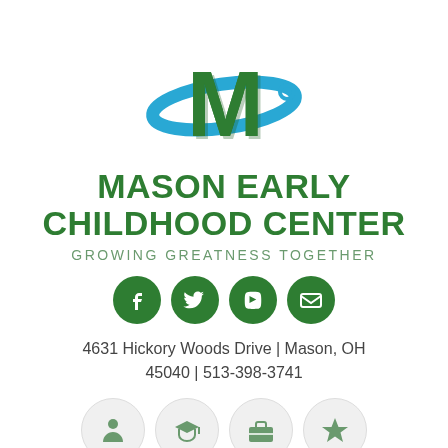[Figure (logo): Mason Early Childhood Center logo: large green letter M with blue swoosh/arc around it]
MASON EARLY CHILDHOOD CENTER
GROWING GREATNESS TOGETHER
[Figure (illustration): Four green circular social media icons: Facebook, Twitter, YouTube, Email]
4631 Hickory Woods Drive | Mason, OH 45040 | 513-398-3741
[Figure (illustration): Four gray circular icons at bottom: person/account, graduation cap, briefcase, star]